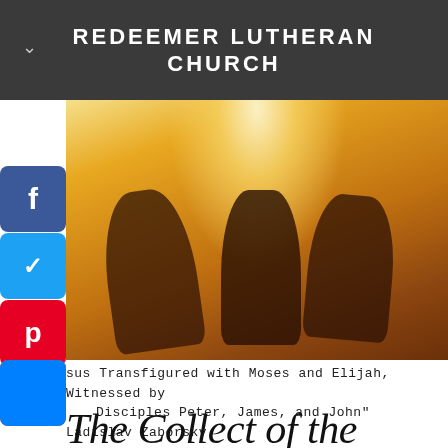REDEEMER LUTHERAN CHURCH
[Figure (illustration): Painting of Jesus Transfigured with Moses and Elijah, witnessed by Disciples Peter, James, and John, by Ladislav Zaborsky. Three dark silhouetted figures against a warm golden-orange glowing background with light radiating from above.]
Jesus Transfigured with Moses and Elijah, Witnessed by Disciples Peter, James, and John" Ladislav Zaborsky
The Collect of the